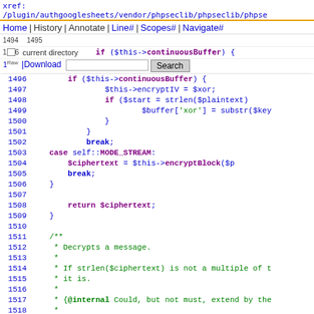xref:
/plugin/authgooglesheets/vendor/phpseclib/phpseclib/phpseclib/...
Home | History | Annotate | Line# | Scopes# | Navigate#
Raw | Download  [search box]  Search
1494 ... $kHY = $xUL;
1495
1496 current directory   if ($this->continuousBuffer) {
1497                         $this->encryptIV = $xor;
1498                         if ($start = strlen($plaintext))
1499                             $buffer['xor'] = substr($key...
1500                     }
1501                 }
1502                 break;
1503         case self::MODE_STREAM:
1504             $ciphertext = $this->encryptBlock($p...
1505             break;
1506     }
1507
1508         return $ciphertext;
1509 }
1510
1511 /**
1512  * Decrypts a message.
1513  *
1514  * If strlen($ciphertext) is not a multiple of t...
1515  * it is.
1516  *
1517  * {@internal Could, but not must, extend by the...
1518  *
1519  * @see self::encrypt()